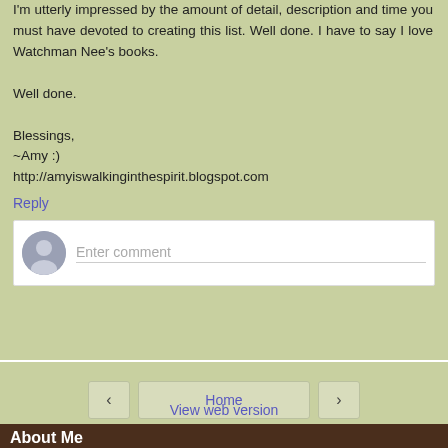I'm utterly impressed by the amount of detail, description and time you must have devoted to creating this list. Well done. I have to say I love Watchman Nee's books.

Well done.

Blessings,
~Amy :)
http://amyiswalkinginthespirit.blogspot.com
Reply
[Figure (screenshot): Enter comment input box with avatar icon placeholder]
[Figure (screenshot): Navigation bar with back arrow, Home button, and forward arrow]
View web version
About Me